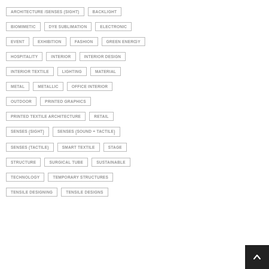ARCHITECTURE /SENSES (SIGHT)
BACKLIGHT
BIOMIMETIC
DYE SUBLIMATION
ELECTRONIC
EVENT
EXHIBITION
FASHION
GREEN ENERGY
HOSPITALITY
INTERIOR
INTERIOR DESIGN
INTERIOR TEXTILE
LIGHTING
MATERIAL
METAL
METALLIC
OFFICE INTERIOR
OUTDOOR
PRINTED GRAPHICS
PRINTED TEXTILE ARCHITECTURE
RETAIL
SENSES (SIGHT)
SENSES (SOUND + TACTILE)
SENSES (TACTILE)
SMART TEXTILE
STAGE
STRUCTURE
SURGICAL TUBE
SUSTAINABLE
TECHNOLOGY
TEMPORARY STRUCTURES
TENSILE DESIGNING
TENSILE DESIGNS